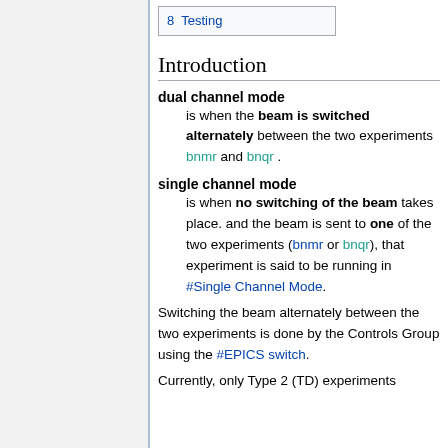8  Testing
Introduction
dual channel mode
  is when the beam is switched alternately between the two experiments bnmr and bnqr .
single channel mode
  is when no switching of the beam takes place. and the beam is sent to one of the two experiments (bnmr or bnqr), that experiment is said to be running in #Single Channel Mode.
Switching the beam alternately between the two experiments is done by the Controls Group using the #EPICS switch.
Currently, only Type 2 (TD) experiments